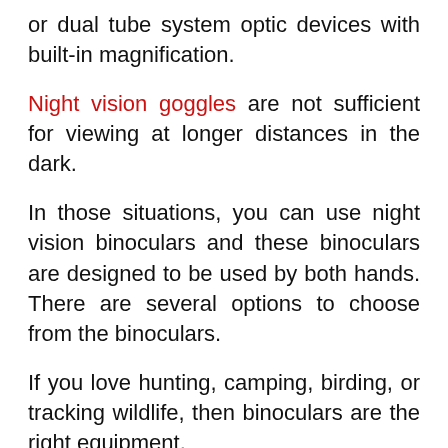or dual tube system optic devices with built-in magnification.
Night vision goggles are not sufficient for viewing at longer distances in the dark.
In those situations, you can use night vision binoculars and these binoculars are designed to be used by both hands. There are several options to choose from the binoculars.
If you love hunting, camping, birding, or tracking wildlife, then binoculars are the right equipment.